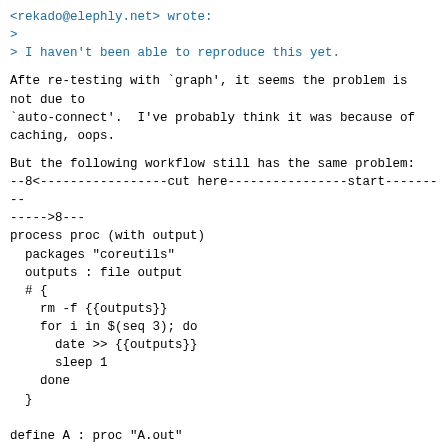<rekado@elephly.net> wrote:
>
> I haven't been able to reproduce this yet.
Afte re-testing with `graph', it seems the problem is not due to
`auto-connect'.  I've probably think it was because of caching, oops.
But the following workflow still has the same problem:
--8<-----------------cut here----------------start---------
----->8---
process proc (with output)
  packages "coreutils"
  outputs : file output
  # {
    rm -f {{outputs}}
    for i in $(seq 3); do
      date >> {{outputs}}
      sleep 1
    done
  }

define A : proc "A.out"
define B : proc "B.out"
define C : proc "C.out"

workflow parallel
  processes
    graph